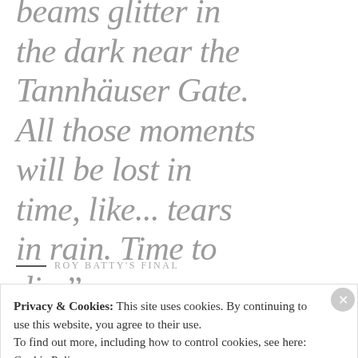beams glitter in the dark near the Tannhäuser Gate. All those moments will be lost in time, like... tears in rain. Time to die."
— ROY BATTY'S FINAL
Privacy & Cookies: This site uses cookies. By continuing to use this website, you agree to their use. To find out more, including how to control cookies, see here: Cookie Policy
Close and accept